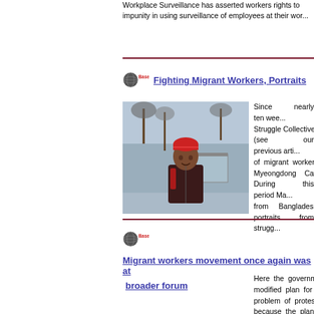Workplace Surveillance has asserted workers rights to impunity in using surveillance of employees at their wor...
Fighting Migrant Workers, Portraits
[Figure (photo): Portrait photo of a man in a red knit hat and dark jacket standing outdoors in an urban setting with trees and a transit shelter in the background]
Since nearly ten wee... Struggle Collective (see our previous arti... of migrant worker... Myeongdong Cath... During this period Ma... from Bangladesh, portraits from strugg...
Migrant workers movement once again was at broader forum
Here the governme... modified plan for ... problem of protes... because the plan brin... the MSSC in a genera... decided to continue t... the government mee...